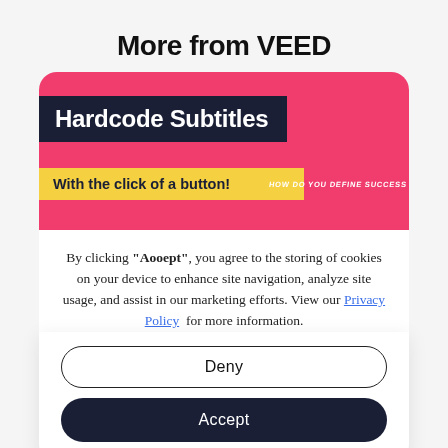More from VEED
[Figure (screenshot): VEED promotional image with 'Hardcode Subtitles' in white text on dark navy banner, 'With the click of a button!' in black text on yellow banner, pink background, and 'HOW DO YOU DEFINE SUCCESS' text on the right side]
By clicking “Accept”, you agree to the storing of cookies on your device to enhance site navigation, analyze site usage, and assist in our marketing efforts. View our Privacy Policy for more information.
Deny
Accept